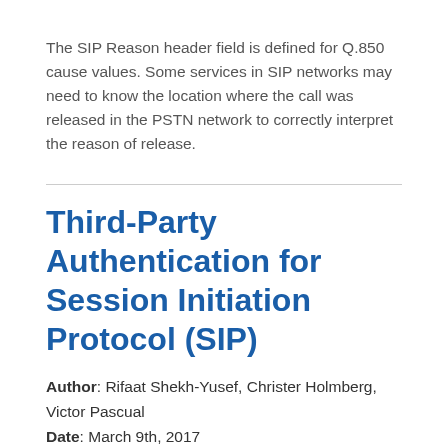The SIP Reason header field is defined for Q.850 cause values. Some services in SIP networks may need to know the location where the call was released in the PSTN network to correctly interpret the reason of release.
Third-Party Authentication for Session Initiation Protocol (SIP)
Author: Rifaat Shekh-Yusef, Christer Holmberg, Victor Pascual
Date: March 9th, 2017